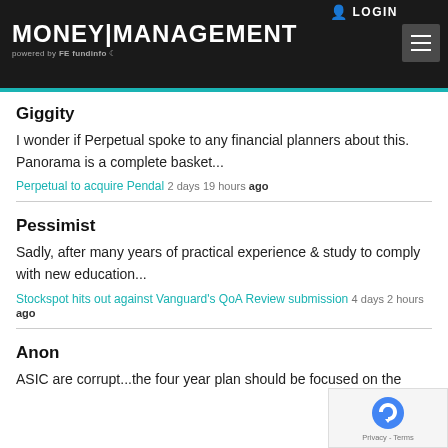MONEY|MANAGEMENT powered by FE fundinfo  LOGIN
Giggity
I wonder if Perpetual spoke to any financial planners about this. Panorama is a complete basket...
Perpetual to acquire Pendal 2 days 19 hours ago
Pessimist
Sadly, after many years of practical experience & study to comply with new education...
Stockspot hits out against Vanguard's QoA Review submission 4 days 2 hours ago
Anon
ASIC are corrupt...the four year plan should be focused on the